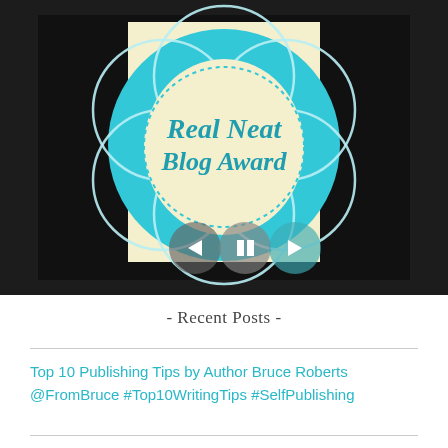[Figure (logo): Real Neat Blog Award badge - circular teal/turquoise badge with overlapping circles pattern and cream/beige center oval with cursive text 'Real Neat Blog Award'. Slideshow controls (prev, pause, next) overlay the bottom of the image.]
- Recent Posts -
Top 10 Publishing Tips by Author Bruce Roberts @FromBruce #Top10WritingTips #SelfPublishing